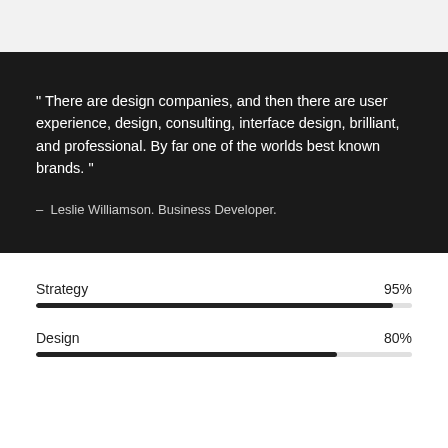" There are design companies, and then there are user experience, design, consulting, interface design, brilliant, and professional. By far one of the worlds best known brands. "
– Leslie Williamson. Business Developer.
[Figure (bar-chart): Skills]